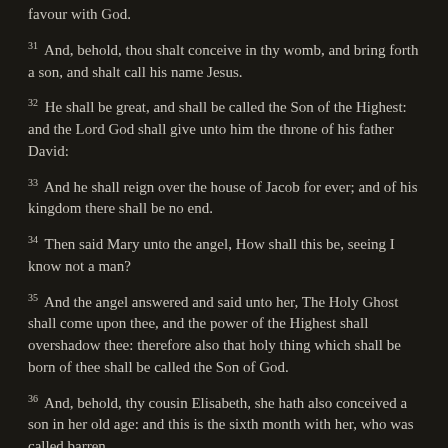favour with God.
31 And, behold, thou shalt conceive in thy womb, and bring forth a son, and shalt call his name Jesus.
32 He shall be great, and shall be called the Son of the Highest: and the Lord God shall give unto him the throne of his father David:
33 And he shall reign over the house of Jacob for ever; and of his kingdom there shall be no end.
34 Then said Mary unto the angel, How shall this be, seeing I know not a man?
35 And the angel answered and said unto her, The Holy Ghost shall come upon thee, and the power of the Highest shall overshadow thee: therefore also that holy thing which shall be born of thee shall be called the Son of God.
36 And, behold, thy cousin Elisabeth, she hath also conceived a son in her old age: and this is the sixth month with her, who was called barren.
37 For with God nothing shall be impossible.